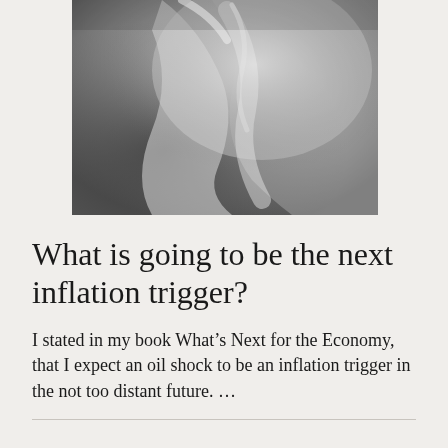[Figure (photo): Close-up black and white photograph of a metallic or chrome curved surface, possibly a spoon or reflective object, with soft bokeh background.]
What is going to be the next inflation trigger?
I stated in my book What’s Next for the Economy, that I expect an oil shock to be an inflation trigger in the not too distant future. ...